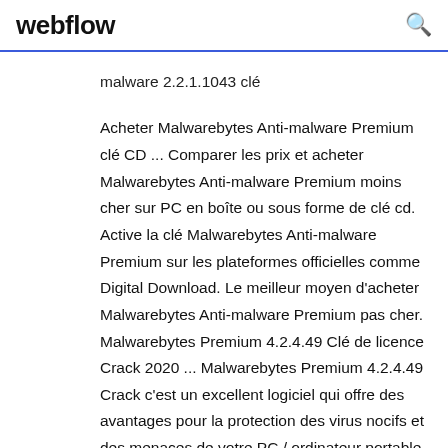webflow
malware 2.2.1.1043 clé
Acheter Malwarebytes Anti-malware Premium clé CD ... Comparer les prix et acheter Malwarebytes Anti-malware Premium moins cher sur PC en boîte ou sous forme de clé cd. Active la clé Malwarebytes Anti-malware Premium sur les plateformes officielles comme Digital Download. Le meilleur moyen d'acheter Malwarebytes Anti-malware Premium pas cher. Malwarebytes Premium 4.2.4.49 Clé de licence Crack 2020 ... Malwarebytes Premium 4.2.4.49 Crack c'est un excellent logiciel qui offre des avantages pour la protection des virus nocifs et des menaces de votre PC / ordinateur portable